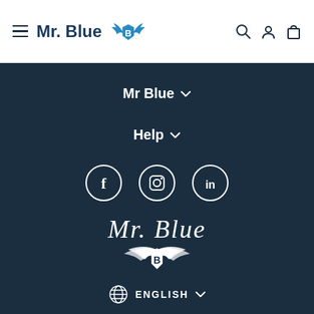Mr. Blue — navigation header with hamburger menu, brand logo, search, account, and cart icons
Mr Blue ∨
Help ∨
[Figure (other): Social media icons: Facebook, Instagram, LinkedIn in circular outlines]
[Figure (logo): Mr. Blue brand logo with winged shield emblem]
ENGLISH ∨